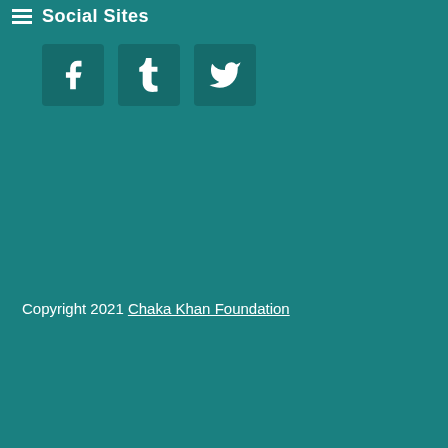Social Sites
[Figure (illustration): Three social media icon buttons: Facebook (f), Tumblr (t), and Twitter (bird icon), displayed as teal square buttons with white icons]
Copyright 2021 Chaka Khan Foundation